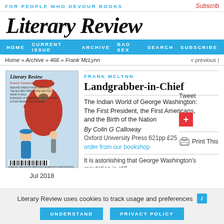FOR PEOPLE WHO DEVOUR BOOKS
Literary Review
HOME  CURRENT ISSUE  ARCHIVE  BAD SEX  SEARCH  SUBSCRIBE
Home » Archive » 466 » Frank McLynn
« previous |
[Figure (illustration): Cover of Literary Review magazine showing illustrated figures in Renaissance-style clothing]
Jul 2018
FRANK MCLYNN
Landgrabber-in-Chief
The Indian World of George Washington: The First President, the First Americans, and the Birth of the Nation
By Colin G Calloway
Oxford University Press 621pp £25
order from our bookshop
Tweet
Print This
It is astonishing that George Washington's reputation is still
Literary Review uses cookies to track usage and preferences
UNDERSTAND
PRIVACY POLICY